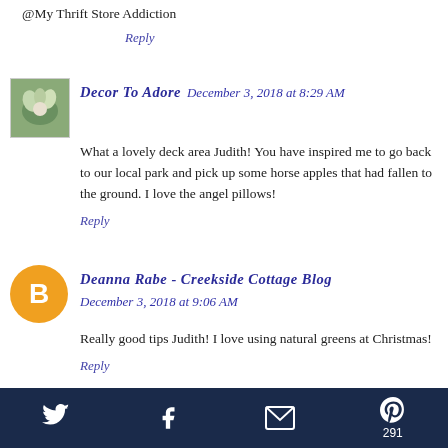@My Thrift Store Addiction
Reply
Decor To Adore December 3, 2018 at 8:29 AM
What a lovely deck area Judith! You have inspired me to go back to our local park and pick up some horse apples that had fallen to the ground. I love the angel pillows!
Reply
Deanna Rabe - Creekside Cottage Blog December 3, 2018 at 9:06 AM
Really good tips Judith! I love using natural greens at Christmas!
Reply
Heather December 3, 2018 at 9:31 AM
[Figure (other): Social share footer bar with Twitter, Facebook, email, and Pinterest icons; Pinterest shows count 291]